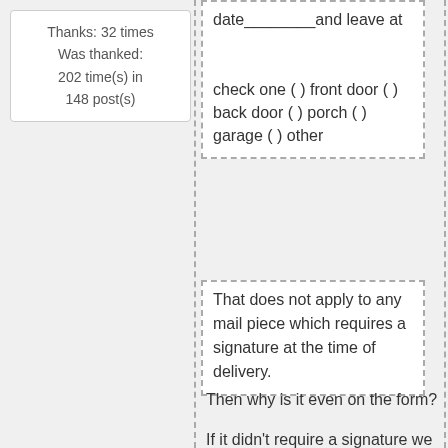Thanks: 32 times
Was thanked: 202 time(s) in 148 post(s)
date________ and leave at
check one ( ) front door ( ) back door ( ) porch ( ) garage ( ) other
That does not apply to any mail piece which requires a signature at the time of delivery.
Then why is it even on the form?
If it didn't require a signature we would have already delivered/left